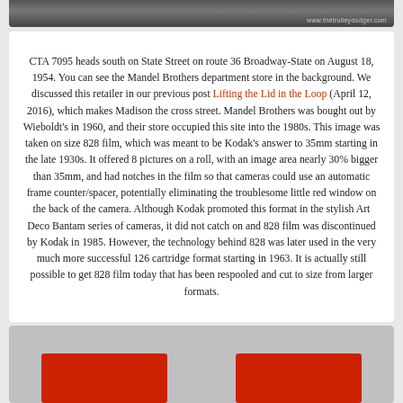[Figure (photo): Top portion of a street photograph showing CTA 7095 on State Street, with watermark 'www.thetrolleydodger.com' visible]
CTA 7095 heads south on State Street on route 36 Broadway-State on August 18, 1954. You can see the Mandel Brothers department store in the background. We discussed this retailer in our previous post Lifting the Lid in the Loop (April 12, 2016), which makes Madison the cross street. Mandel Brothers was bought out by Wieboldt's in 1960, and their store occupied this site into the 1980s. This image was taken on size 828 film, which was meant to be Kodak's answer to 35mm starting in the late 1930s. It offered 8 pictures on a roll, with an image area nearly 30% bigger than 35mm, and had notches in the film so that cameras could use an automatic frame counter/spacer, potentially eliminating the troublesome little red window on the back of the camera. Although Kodak promoted this format in the stylish Art Deco Bantam series of cameras, it did not catch on and 828 film was discontinued by Kodak in 1985. However, the technology behind 828 was later used in the very much more successful 126 cartridge format starting in 1963. It is actually still possible to get 828 film today that has been respooled and cut to size from larger formats.
[Figure (photo): Bottom portion showing two red boxes or packaging items against a grey background]